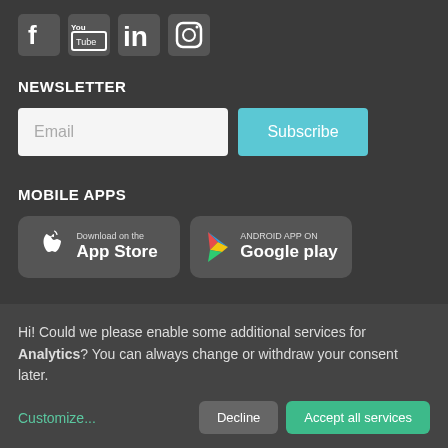[Figure (illustration): Social media icons: Facebook, YouTube, LinkedIn, Instagram]
NEWSLETTER
Email  Subscribe
MOBILE APPS
[Figure (illustration): App store buttons: Download on the App Store and Android App on Google play]
QUALITY
For many years, Ketterthill Laboratory has been committed to
Hi! Could we please enable some additional services for Analytics? You can always change or withdraw your consent later.
Customize...   Decline   Accept all services